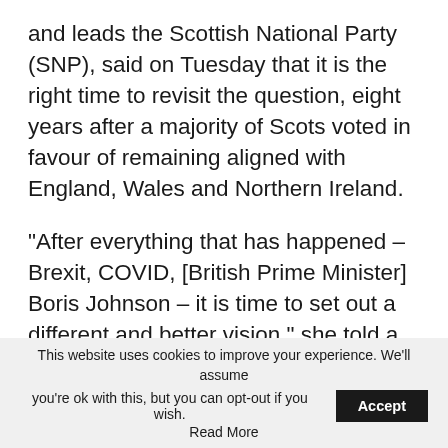and leads the Scottish National Party (SNP), said on Tuesday that it is the right time to revisit the question, eight years after a majority of Scots voted in favour of remaining aligned with England, Wales and Northern Ireland.
“After everything that has happened – Brexit, COVID, [British Prime Minister] Boris Johnson – it is time to set out a different and better vision,” she told a press conference in Edinburgh as she released the first in a series of official papers laying out the arguments for independence.
This website uses cookies to improve your experience. We'll assume you're ok with this, but you can opt-out if you wish. Accept Read More